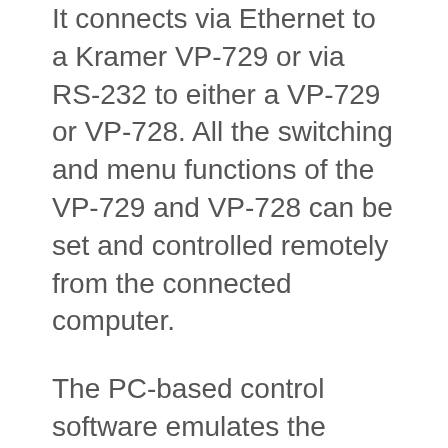It connects via Ethernet to a Kramer VP-729 or via RS-232 to either a VP-729 or VP-728. All the switching and menu functions of the VP-729 and VP-728 can be set and controlled remotely from the connected computer.
The PC-based control software emulates the appearance of the front panel of the Kramer VP-729/VP-728 scalers on the computer screen so that the user can control switching by clicking on the inputs buttons.  If menu control is selected, the VP-729/VP-728 menu appears on the computer screen.  The on-screen menu is visually identical to the menu generated by the scalers on a